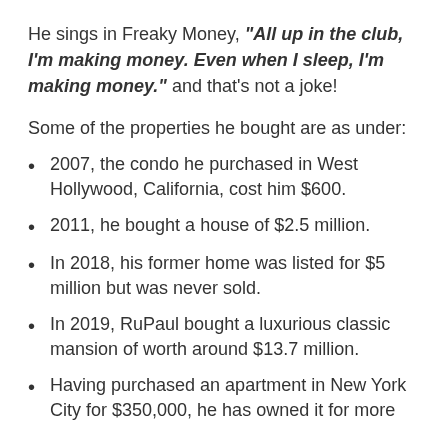He sings in Freaky Money, "All up in the club, I'm making money. Even when I sleep, I'm making money." and that's not a joke!
Some of the properties he bought are as under:
2007, the condo he purchased in West Hollywood, California, cost him $600.
2011, he bought a house of $2.5 million.
In 2018, his former home was listed for $5 million but was never sold.
In 2019, RuPaul bought a luxurious classic mansion of worth around $13.7 million.
Having purchased an apartment in New York City for $350,000, he has owned it for more than 25...